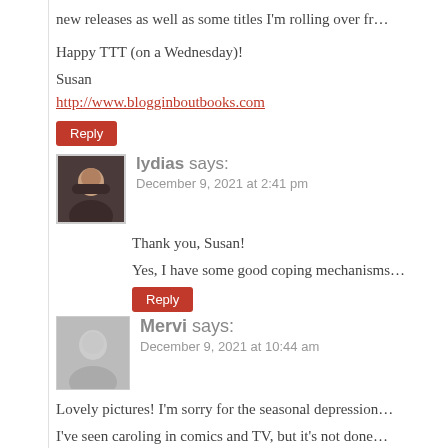new releases as well as some titles I'm rolling over fr…
Happy TTT (on a Wednesday)!
Susan
http://www.blogginboutbooks.com
Reply
lydias says:
December 9, 2021 at 2:41 pm
Thank you, Susan!
Yes, I have some good coping mechanisms…
Reply
Mervi says:
December 9, 2021 at 10:44 am
Lovely pictures! I'm sorry for the seasonal depression…
I've seen caroling in comics and TV, but it's not done… to curl up with good books and hot chocolate for the…